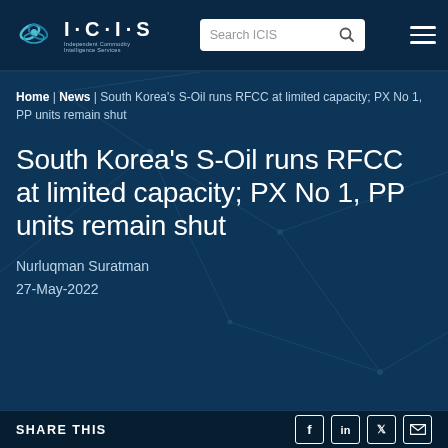ICIS - Independent Commodity Intelligence Services
Home | News | South Korea's S-Oil runs RFCC at limited capacity; PX No 1, PP units remain shut
South Korea's S-Oil runs RFCC at limited capacity; PX No 1, PP units remain shut
Nurluqman Suratman
27-May-2022
SHARE THIS | JUMP TO